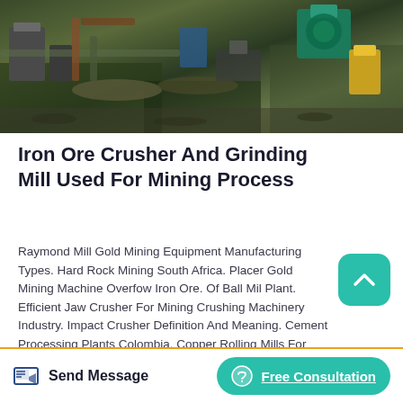[Figure (photo): Aerial/overhead view of iron ore crusher and grinding mill mining equipment and machinery at a mining site]
Iron Ore Crusher And Grinding Mill Used For Mining Process
Raymond Mill Gold Mining Equipment Manufacturing Types. Hard Rock Mining South Africa. Placer Gold Mining Machine Overfow Iron Ore. Of Ball Mil Plant. Efficient Jaw Crusher For Mining Crushing Machinery Industry. Impact Crusher Definition And Meaning. Cement Processing Plants Colombia. Copper Rolling Mills For Sale In South Africa.
Read More
Send Message
Free Consultation